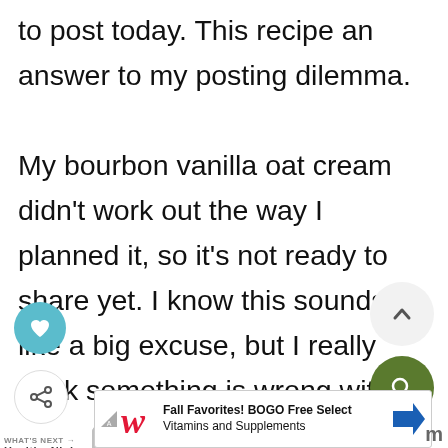to post today. This recipe an answer to my posting dilemma.

My bourbon vanilla oat cream didn't work out the way I planned it, so it's not ready to share yet. I know this sounds like a big excuse, but I really think something is wrong with my ice cream maker. That, alone freezer just isn't doing it's job. I'm cleaning out a place for it in the re... next.
[Figure (infographic): UI overlay elements: teal heart button, share button, scroll-up arrow button (light grey circle), green search/magnifier button]
WHAT'S NEXT → Healthy Ninja Creami Dole...
[Figure (photo): Thumbnail image of a green ice cream scoop dessert]
[Figure (infographic): Ad banner: Walgreens logo with text 'Fall Favorites! BOGO Free Select Vitamins and Supplements' and blue arrow sign]